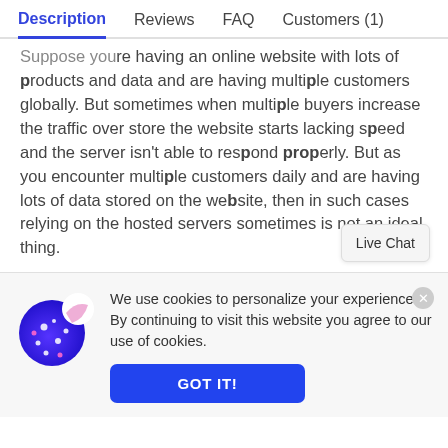Description | Reviews | FAQ | Customers (1)
Suppose you're having an online website with lots of products and data and are having multiple customers globally. But sometimes when multiple buyers increase the traffic over store the website starts lacking speed and the server isn't able to respond properly. But as you encounter multiple customers daily and are having lots of data stored on the website, then in such cases relying on the hosted servers sometimes is not an ideal thing.
[Figure (other): Cookie consent banner with cookie emoji icon, text about personalized experience and a 'GOT IT!' button]